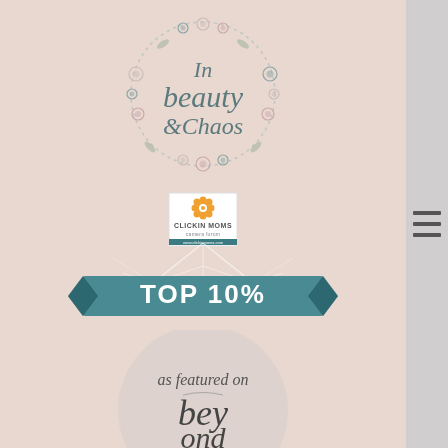[Figure (logo): In Beauty & Chaos handlettered logo with floral wreath]
[Figure (logo): Clickin Moms camera forum logo badge]
[Figure (infographic): Top 10% banner badge with diamond geometric design]
[Figure (illustration): As featured on Beyond the... circular badge with handlettering]